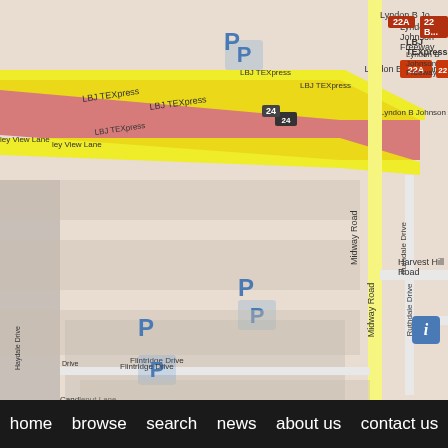[Figure (map): Street map showing area around W T White High School in Dallas, TX near LBJ TEXpress / Lyndon B Johnson Freeway. Shows streets including Midway Road, Welch Road, Harvest Hill Road, Ruthdale Drive, Carolline Avenue, and residential streets. Parking areas marked with P. A location pin marked L is visible near the freeway.]
home   browse   search   news   about us   contact us